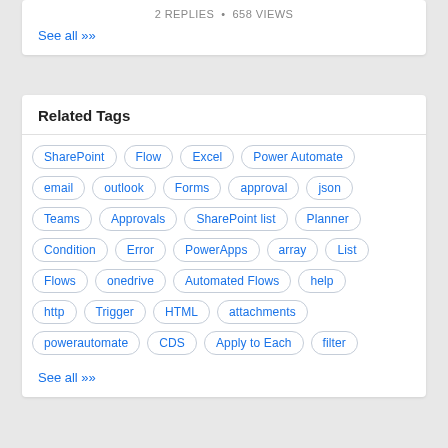2 REPLIES  •  658 VIEWS
See all ≫
Related Tags
SharePoint
Flow
Excel
Power Automate
email
outlook
Forms
approval
json
Teams
Approvals
SharePoint list
Planner
Condition
Error
PowerApps
array
List
Flows
onedrive
Automated Flows
help
http
Trigger
HTML
attachments
powerautomate
CDS
Apply to Each
filter
See all ≫